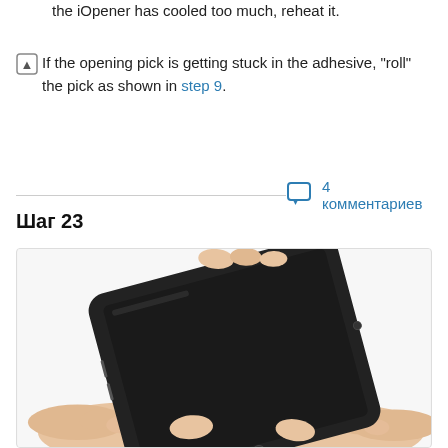the iOpener has cooled too much, reheat it.
If the opening pick is getting stuck in the adhesive, "roll" the pick as shown in step 9.
4 комментариев
Шаг 23
[Figure (photo): Hands holding a tablet (iPad) at an angle, with two thumbs visible at the bottom edge, against a white background.]